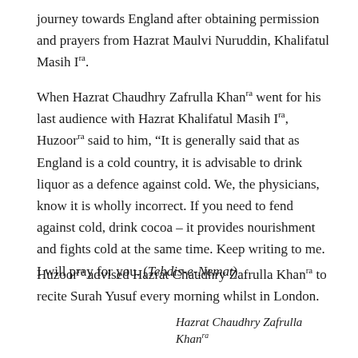journey towards England after obtaining permission and prayers from Hazrat Maulvi Nuruddin, Khalifatul Masih Ira.
When Hazrat Chaudhry Zafrulla Khanra went for his last audience with Hazrat Khalifatul Masih Ira, Huzoorraaid to him, “It is generally said that as England is a cold country, it is advisable to drink liquor as a defence against cold. We, the physicians, know it is wholly incorrect. If you need to fend against cold, drink cocoa – it provides nourishment and fights cold at the same time. Keep writing to me. I will pray for you. (Tehdis-e-Nemat)
Huzoorraadvised Hazrat Chaudhry Zafrulla Khanra to recite Surah Yusuf every morning whilst in London.
Hazrat Chaudhry Zafrulla Khanra